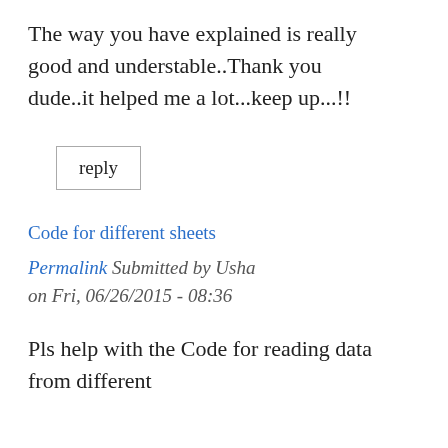The way you have explained is really good and understable..Thank you dude..it helped me a lot...keep up...!!
reply
Code for different sheets
Permalink Submitted by Usha on Fri, 06/26/2015 - 08:36
Pls help with the Code for reading data from different